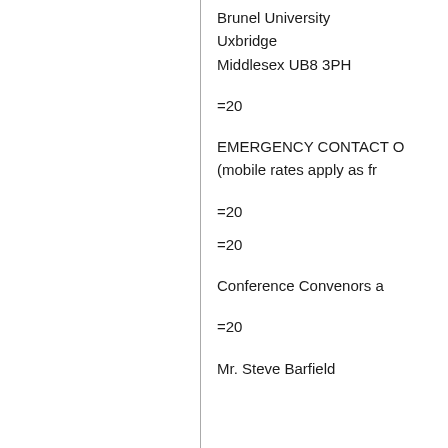Brunel University
Uxbridge
Middlesex UB8 3PH
=20
EMERGENCY CONTACT O
(mobile rates apply as fr
=20
=20
Conference Convenors a
=20
Mr. Steve Barfield